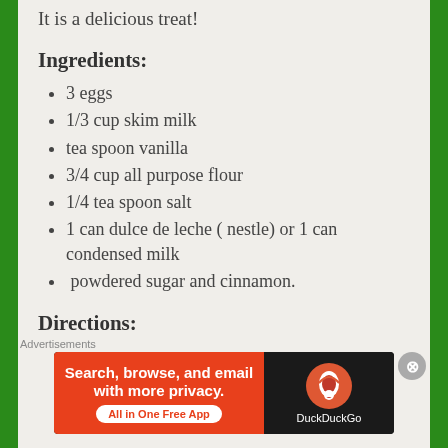It is a delicious treat!
Ingredients:
3 eggs
1/3 cup skim milk
tea spoon vanilla
3/4 cup all purpose flour
1/4 tea spoon salt
1 can dulce de leche ( nestle) or 1 can condensed milk
powdered sugar and cinnamon.
Directions:
*To cook a can of condensed milk, place the can inside…
[Figure (other): DuckDuckGo advertisement banner: Search, browse, and email with more privacy. All in One Free App]